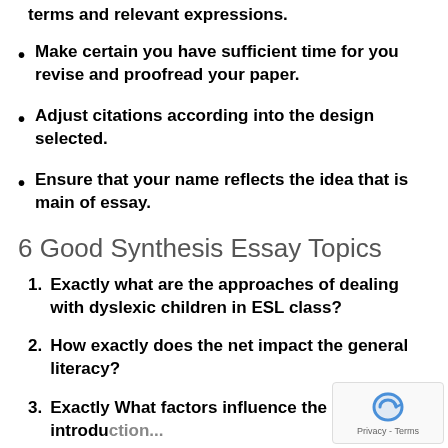terms and relevant expressions.
Make certain you have sufficient time for you revise and proofread your paper.
Adjust citations according into the design selected.
Ensure that your name reflects the idea that is main of essay.
6 Good Synthesis Essay Topics
Exactly what are the approaches of dealing with dyslexic children in ESL class?
How exactly does the net impact the general literacy?
Exactly What factors influence the introduction...